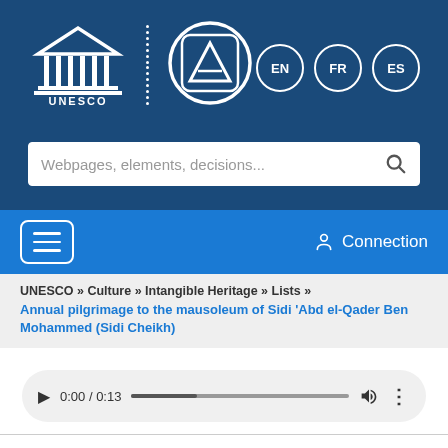[Figure (logo): UNESCO logo (temple/columns) and an app logo (triangle/A in circle) side by side on dark blue background]
[Figure (screenshot): Language selector buttons: EN (active), FR, ES, as circles on dark blue background]
[Figure (screenshot): Search bar with placeholder text 'Webpages, elements, decisions...' and magnifying glass icon]
[Figure (screenshot): Navigation bar with hamburger menu and Connection button on blue background]
UNESCO » Culture » Intangible Heritage » Lists »
Annual pilgrimage to the mausoleum of Sidi 'Abd el-Qader Ben Mohammed (Sidi Cheikh)
[Figure (screenshot): Audio player showing 0:00 / 0:13 with play button, progress bar, volume icon and more options]
+ Nomination file No. 00660
+ Decision